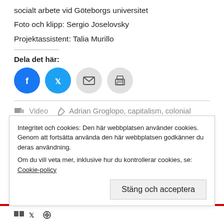socialt arbete vid Göteborgs universitet
Foto och klipp: Sergio Joselovsky
Projektassistent: Talia Murillo
Dela det här:
[Figure (other): Social share buttons: Facebook, Twitter, Email, Print]
Video  Adrian Groglopo, capitalism, colonial power, colonial subject, coloniality of being, coloniality of power, culture, decoloniality, discrimiantion, epistemology
Integritet och cookies: Den här webbplatsen använder cookies. Genom att fortsätta använda den här webbplatsen godkänner du deras användning.
Om du vill veta mer, inklusive hur du kontrollerar cookies, se: Cookie-policy
Stäng och acceptera